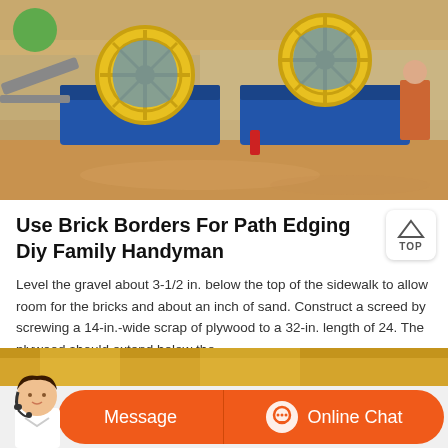[Figure (photo): Industrial sand washing machines with large yellow and blue wheel-type washers at an outdoor construction/mining site with sandy ground]
Use Brick Borders For Path Edging Diy Family Handyman
Level the gravel about 3-1/2 in. below the top of the sidewalk to allow room for the bricks and about an inch of sand. Construct a screed by screwing a 14-in.-wide scrap of plywood to a 32-in. length of 24. The plywood should extend below the
[Figure (photo): Customer service representative with headset and chat interface showing Message and Online Chat buttons]